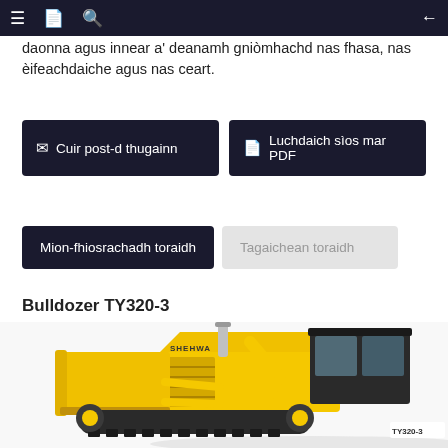Navigation bar with menu, document, search icons and back arrow
daonna agus innear a' deanamh gnìomhachd nas fhasa, nas èifeachdaiche agus nas ceart.
✉ Cuir post-d thugainn | 📄 Luchdaich sìos mar PDF
Mion-fhiosrachadh toraidh | Tagaichean toraidh
Bulldozer TY320-3
[Figure (photo): Yellow SHEHWA Bulldozer TY320-3 photographed from the front-left angle, showing the blade, tracks, exhaust stack, and cab]